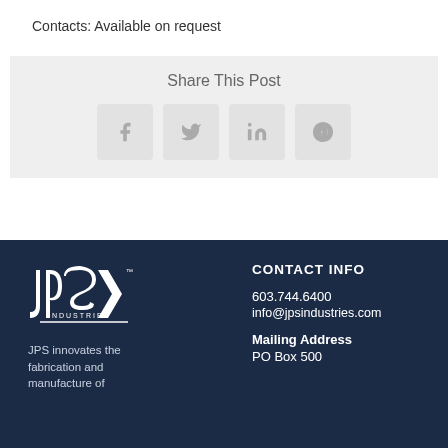Contacts: Available on request
Share This Post
[Figure (other): Social share buttons: Facebook, Twitter, LinkedIn, Pinterest]
[Figure (logo): JPS Industries logo — white on dark navy background]
JPS innovates the fabrication and manufacture of
CONTACT INFO
603.744.6400
info@jpsindustries.com
Mailing Address
PO Box 500